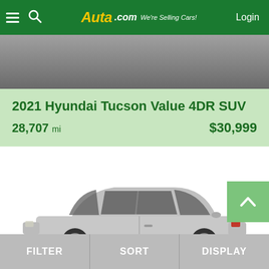AUTA.com — We're Selling Cars! | Login
[Figure (photo): Top portion of a car listing image, cropped — gray/asphalt surface background, partially visible]
2021 Hyundai Tucson Value 4DR SUV
28,707 mi   $30,999
[Figure (photo): Side profile of a silver sedan (Honda Civic style), viewed from the driver's side, on a white background]
FILTER   SORT   DISPLAY